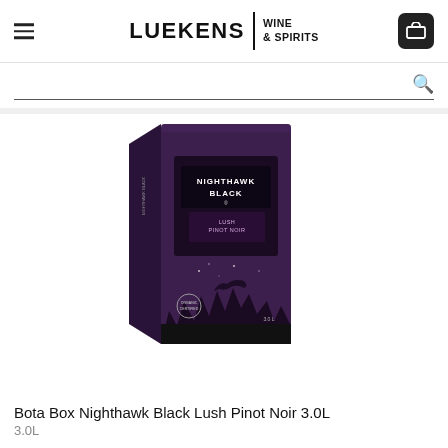LUEKENS | WINE & SPIRITS
[Figure (screenshot): Bota Box Nighthawk Black Lush Pinot Noir 3.0L product box with dark purple night sky, bird, and forest silhouette design]
Bota Box Nighthawk Black Lush Pinot Noir 3.0L
3.0L